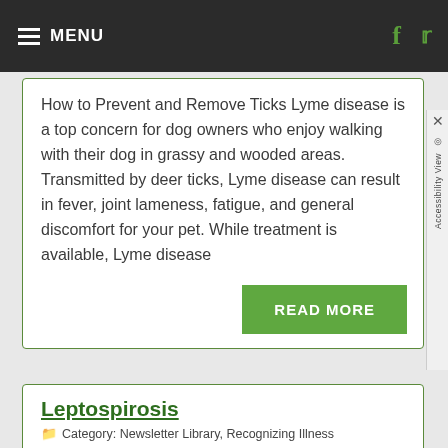MENU
How to Prevent and Remove Ticks Lyme disease is a top concern for dog owners who enjoy walking with their dog in grassy and wooded areas. Transmitted by deer ticks, Lyme disease can result in fever, joint lameness, fatigue, and general discomfort for your pet. While treatment is available, Lyme disease
READ MORE
Leptospirosis
Category: Newsletter Library, Recognizing Illness